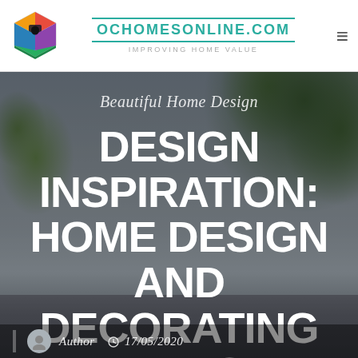[Figure (logo): Colorful house-shaped logo with rainbow colors]
OCHOMESONLINE.COM
IMPROVING HOME VALUE
[Figure (photo): Hero background photo showing a house exterior with large green trees against an overcast sky]
Beautiful Home Design
DESIGN INSPIRATION: HOME DESIGN AND DECORATING IDEAS
Author  17/05/2020